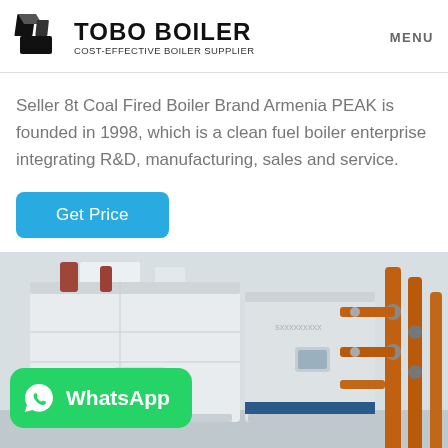TOBO BOILER COST-EFFECTIVE BOILER SUPPLIER MENU
Seller 8t Coal Fired Boiler Brand Armenia PEAK is founded in 1998, which is a clean fuel boiler enterprise integrating R&D, manufacturing, sales and service.
Get Price
[Figure (photo): Industrial boiler installation showing large white boiler units with orange copper pipes and fittings in an equipment room. A WhatsApp badge overlay is visible in the lower-left corner.]